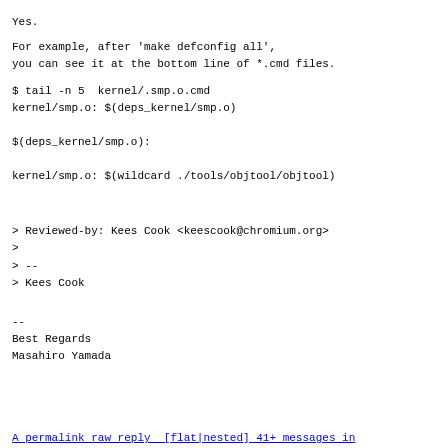Yes.
For example, after 'make defconfig all',
you can see it at the bottom line of *.cmd files.
$ tail -n 5  kernel/.smp.o.cmd
kernel/smp.o: $(deps_kernel/smp.o)

$(deps_kernel/smp.o):

kernel/smp.o: $(wildcard ./tools/objtool/objtool)
> Reviewed-by: Kees Cook <keescook@chromium.org>
>
> --
> Kees Cook
--
Best Regards
Masahiro Yamada
A permalink raw reply  [flat|nested] 41+ messages in